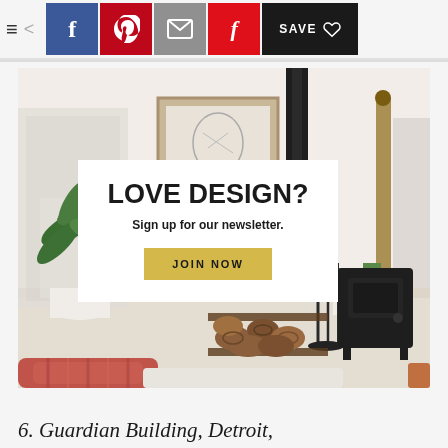≡  <  [Facebook] [Pinterest] [Mail] [Flipboard] [SAVE ♡]
[Figure (photo): Interior room photo showing a bright white living space with a wood-burning stove, stacked firewood in a metal rack, large tropical plants in white pots, a framed artwork on the wall, and striped red/pink cushions in foreground. Overlaid with a white card reading 'LOVE DESIGN? Sign up for our newsletter. JOIN NOW']
6. Guardian Building, Detroit,